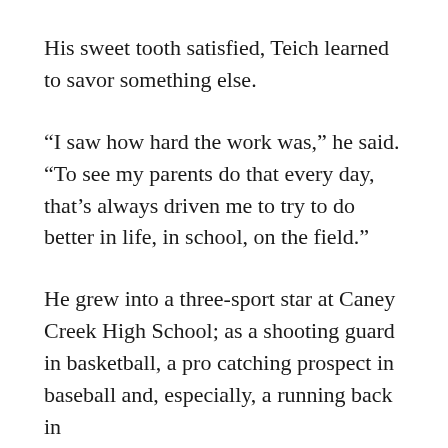His sweet tooth satisfied, Teich learned to savor something else.
“I saw how hard the work was,” he said. “To see my parents do that every day, that’s always driven me to try to do better in life, in school, on the field.”
He grew into a three-sport star at Caney Creek High School; as a shooting guard in basketball, a pro catching prospect in baseball and, especially, a running back in